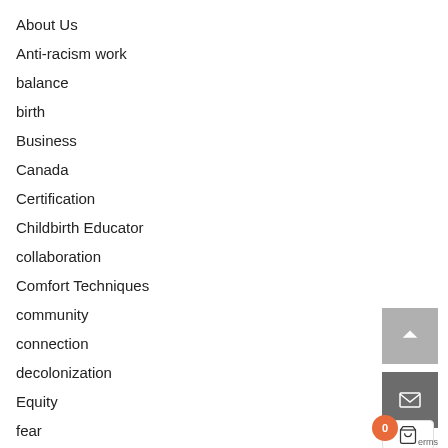About Us
Anti-racism work
balance
birth
Business
Canada
Certification
Childbirth Educator
collaboration
Comfort Techniques
community
connection
decolonization
Equity
fear
fertility